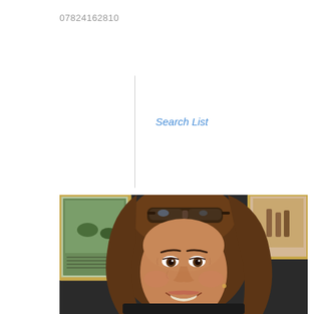07824162810
Search List
[Figure (photo): Portrait photo of a woman with long brown hair, sunglasses on her head, smiling, seated in front of framed pictures on a wall]